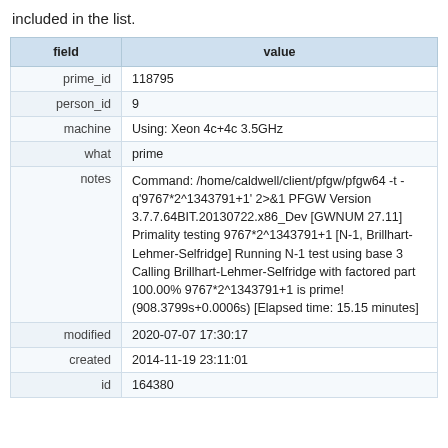included in the list.
| field | value |
| --- | --- |
| prime_id | 118795 |
| person_id | 9 |
| machine | Using: Xeon 4c+4c 3.5GHz |
| what | prime |
| notes | Command: /home/caldwell/client/pfgw/pfgw64 -t -q'9767*2^1343791+1' 2>&1 PFGW Version 3.7.7.64BIT.20130722.x86_Dev [GWNUM 27.11] Primality testing 9767*2^1343791+1 [N-1, Brillhart-Lehmer-Selfridge] Running N-1 test using base 3 Calling Brillhart-Lehmer-Selfridge with factored part 100.00% 9767*2^1343791+1 is prime! (908.3799s+0.0006s) [Elapsed time: 15.15 minutes] |
| modified | 2020-07-07 17:30:17 |
| created | 2014-11-19 23:11:01 |
| id | 164380 |